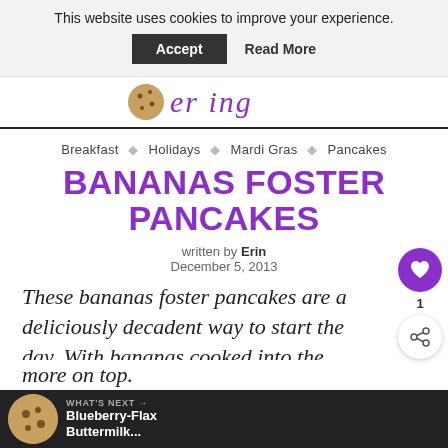This website uses cookies to improve your experience. Accept  Read More
[Figure (logo): Cookie/logo image with cursive blog name text]
Breakfast ◇ Holidays ◇ Mardi Gras ◇ Pancakes
BANANAS FOSTER PANCAKES
written by Erin
December 5, 2013
These bananas foster pancakes are a deliciously decadent way to start the day. With bananas cooked into the pancakes themselves and more on top.
WHAT'S NEXT → Blueberry-Flax Buttermilk...